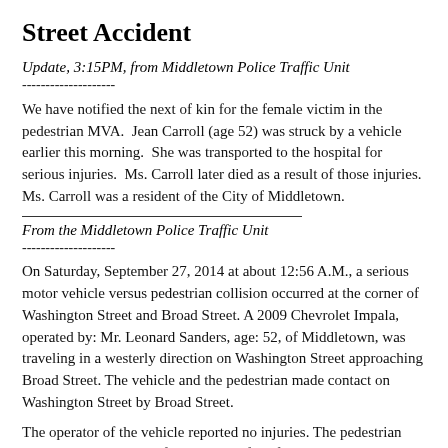Street Accident
Update, 3:15PM, from Middletown Police Traffic Unit
--------------------
We have notified the next of kin for the female victim in the pedestrian MVA.  Jean Carroll (age 52) was struck by a vehicle earlier this morning.  She was transported to the hospital for serious injuries.  Ms. Carroll later died as a result of those injuries.  Ms. Carroll was a resident of the City of Middletown.
From the Middletown Police Traffic Unit
--------------------
On Saturday, September 27, 2014 at about 12:56 A.M., a serious motor vehicle versus pedestrian collision occurred at the corner of Washington Street and Broad Street. A 2009 Chevrolet Impala, operated by: Mr. Leonard Sanders, age: 52, of Middletown, was traveling in a westerly direction on Washington Street approaching Broad Street. The vehicle and the pedestrian made contact on Washington Street by Broad Street.
The operator of the vehicle reported no injuries. The pedestrian was transported to Hartford Hospital for life threatening injuries